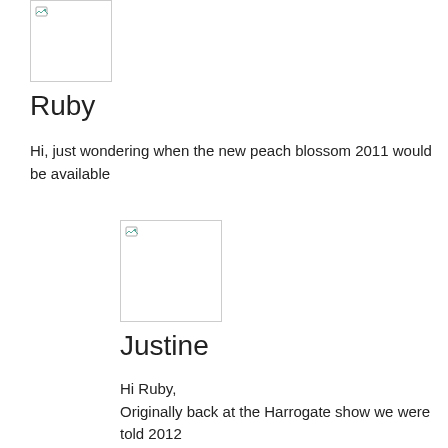[Figure (photo): Avatar placeholder image for Ruby (broken/unloaded image), shown as white box with border and broken image icon]
Ruby
Hi, just wondering when the new peach blossom 2011 would be available
[Figure (photo): Avatar placeholder image for Justine (broken/unloaded image), shown as white box with border and broken image icon]
Justine
Hi Ruby,
Originally back at the Harrogate show we were told 2012 and then 2013 for launch in the UK. But when the Peach w iCandy I was told that they were now looking at summer 2 and the end of 2011 for the UK. That is as much as I know that I currently am using is a prototype and may get tweak is brilliant compared to the old one, and also to most oth